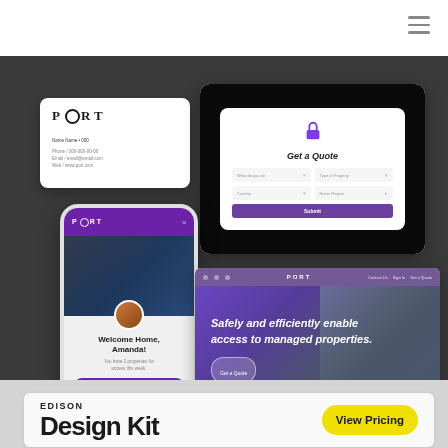[Figure (screenshot): Navigation bar with hamburger menu icon in top right corner on white background]
[Figure (screenshot): Dark gray background showcasing PORT brand UI mockups: business card, quote form tablet, mobile app phone screen with Welcome Home Amanda message, and desktop website hero with text 'Safely and efficiently enable access to managed properties.']
EDISON
Design Kit
[Figure (other): Yellow rounded pill button labeled 'View Pricing']